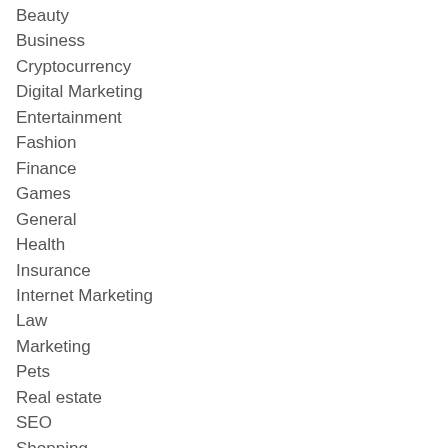Beauty
Business
Cryptocurrency
Digital Marketing
Entertainment
Fashion
Finance
Games
General
Health
Insurance
Internet Marketing
Law
Marketing
Pets
Real estate
SEO
Shopping